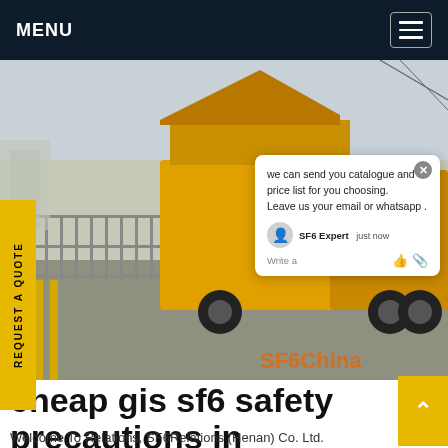MENU
[Figure (photo): Yellow truck on a bridge or elevated road structure, industrial setting, with SF6China watermark in orange at bottom right. A chat popup overlay is visible showing message: 'we can send you catalogue and price list for you choosing. Leave us your email or whatsapp .' with SF6 Expert label and just now timestamp.]
cheap gis sf6 safety precautions in Mauritius
Welcome To Relations, SF6Relations (Henan) Co. Ltd.